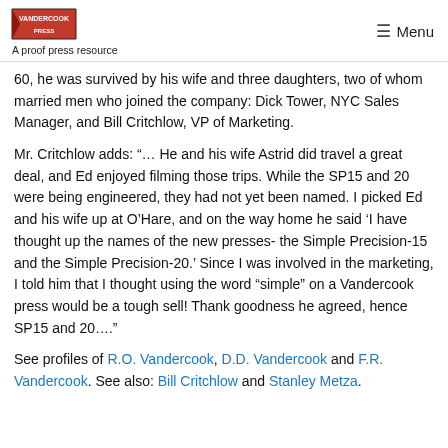A proof press resource | Menu
60, he was survived by his wife and three daughters, two of whom married men who joined the company: Dick Tower, NYC Sales Manager, and Bill Critchlow, VP of Marketing.
Mr. Critchlow adds: "… He and his wife Astrid did travel a great deal, and Ed enjoyed filming those trips. While the SP15 and 20 were being engineered, they had not yet been named. I picked Ed and his wife up at O’Hare, and on the way home he said ‘I have thought up the names of the new presses- the Simple Precision-15 and the Simple Precision-20.’ Since I was involved in the marketing, I told him that I thought using the word “simple” on a Vandercook press would be a tough sell! Thank goodness he agreed, hence SP15 and 20….”
See profiles of R.O. Vandercook, D.D. Vandercook and F.R. Vandercook. See also: Bill Critchlow and Stanley Metza.